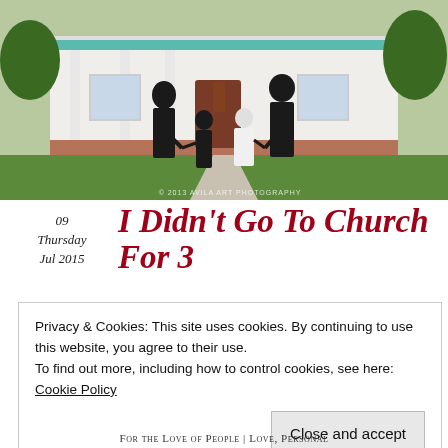[Figure (photo): A family of four — mother, father, and two young children — dressed in formal black and white attire, walking toward a white house with a covered porch and brick foundation, surrounded by green lawn. Watermark reads '© 2013 AVILA ART PHOTOGRAPHY'.]
09
Thursday
Jul 2015
I Didn't Go To Church For 3
Privacy & Cookies: This site uses cookies. By continuing to use this website, you agree to their use.
To find out more, including how to control cookies, see here: Cookie Policy
Close and accept
For the Love of People | Love, Personal